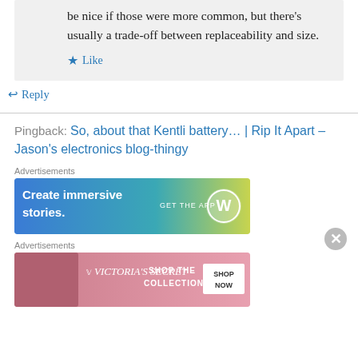be nice if those were more common, but there's usually a trade-off between replaceability and size.
Like
Reply
Pingback: So, about that Kentli battery… | Rip It Apart – Jason's electronics blog-thingy
[Figure (infographic): WordPress advertisement banner: 'Create immersive stories. GET THE APP' with WordPress logo on blue-to-green gradient background]
[Figure (infographic): Victoria's Secret advertisement banner: 'SHOP THE COLLECTION SHOP NOW' on pink background with model photo]